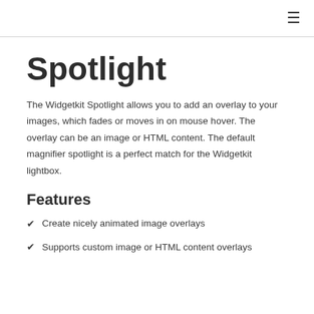≡
Spotlight
The Widgetkit Spotlight allows you to add an overlay to your images, which fades or moves in on mouse hover. The overlay can be an image or HTML content. The default magnifier spotlight is a perfect match for the Widgetkit lightbox.
Features
Create nicely animated image overlays
Supports custom image or HTML content overlays